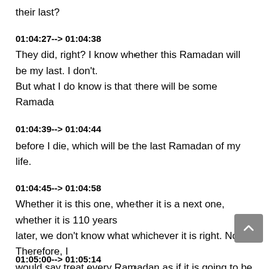their last?
01:04:27--> 01:04:38
They did, right? I know whether this Ramadan will be my last. I don't. But what I do know is that there will be some Ramada
01:04:39--> 01:04:44
before I die, which will be the last Ramadan of my life.
01:04:45--> 01:04:58
Whether it is this one, whether it is a next one, whether it is 110 years later, we don't know what whichever it is right. Now. Therefore, I would say treat every Ramadan as if it is going to be your last
01:05:00--> 01:05:14